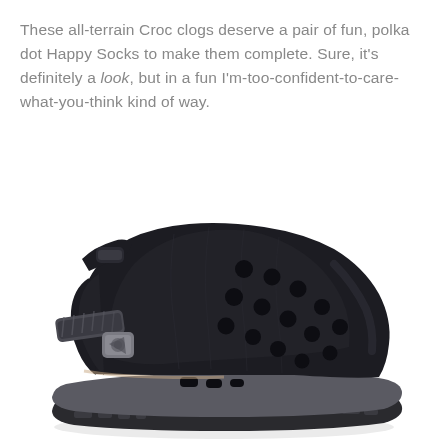These all-terrain Croc clogs deserve a pair of fun, polka dot Happy Socks to make them complete. Sure, it's definitely a look, but in a fun I'm-too-confident-to-care-what-you-think kind of way.
[Figure (photo): A black all-terrain Croc clog shoe with grey adjustable back strap and buckle, rugged sole, and characteristic ventilation holes, photographed on a white background.]